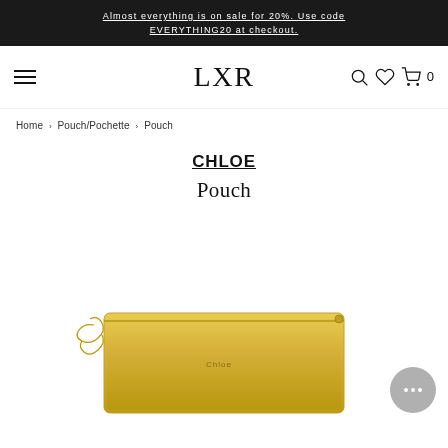Almost everything is on sale for 20%. Use code EVERYTHING20 at checkout.
[Figure (logo): LXR brand logo in serif font with hamburger menu icon, search icon, heart icon, and cart icon with 0 badge]
Home › Pouch/Pochette › Pouch
CHLOE
Pouch
[Figure (photo): Gold metallic Chloe pouch/clutch with chain strap, photographed on white background, cropped at bottom of page]
[Figure (other): Chat support button with three dots, circular grey button in bottom right corner]